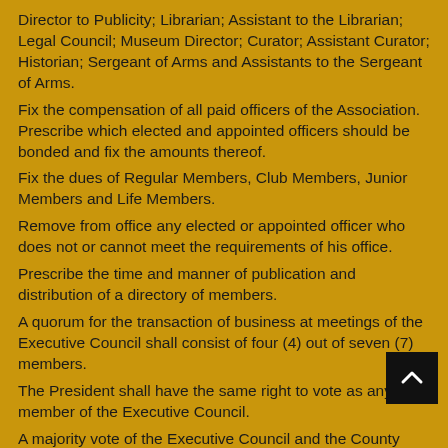Director to Publicity; Librarian; Assistant to the Librarian; Legal Council; Museum Director; Curator; Assistant Curator; Historian; Sergeant of Arms and Assistants to the Sergeant of Arms.
Fix the compensation of all paid officers of the Association. Prescribe which elected and appointed officers should be bonded and fix the amounts thereof.
Fix the dues of Regular Members, Club Members, Junior Members and Life Members.
Remove from office any elected or appointed officer who does not or cannot meet the requirements of his office.
Prescribe the time and manner of publication and distribution of a directory of members.
A quorum for the transaction of business at meetings of the Executive Council shall consist of four (4) out of seven (7) members.
The President shall have the same right to vote as any member of the Executive Council.
A majority vote of the Executive Council and the County